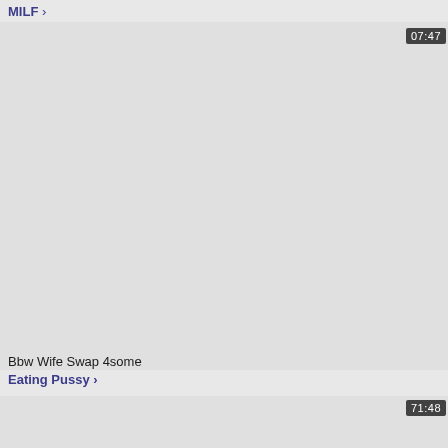MILF >
[Figure (photo): Video thumbnail placeholder - gray rectangle with duration badge 07:47]
Bbw Wife Swap 4some
Eating Pussy >
[Figure (photo): Video thumbnail placeholder - gray rectangle with duration badge 71:48]